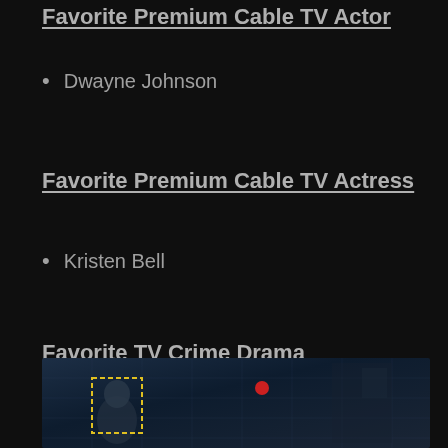Favorite Premium Cable TV Actor
Dwayne Johnson
Favorite Premium Cable TV Actress
Kristen Bell
Favorite TV Crime Drama
[Figure (photo): Photo showing a person with a yellow dashed face-detection box overlay on a dark surveillance/crime drama scene with a red dot indicator]